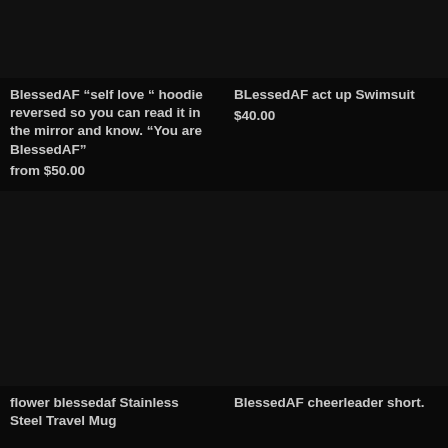[Figure (photo): Dark/black product image placeholder for BlessedAF self love hoodie]
BlessedAF “self love “ hoodie reversed so you can read it in the mirror and know. “You are BlessedAF” from $50.00
[Figure (photo): Dark/black product image placeholder for BLessedAF act up Swimsuit]
BLessedAF act up Swimsuit $40.00
[Figure (photo): Dark/black product image placeholder for flower blessedaf Stainless Steel Travel Mug]
flower blessedaf Stainless Steel Travel Mug
[Figure (photo): Dark/black product image placeholder for BlessedAF cheerleader short.]
BlessedAF cheerleader short.